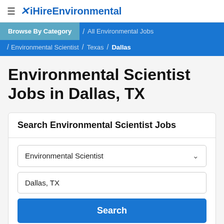≡ iHireEnvironmental
Browse By Category / All Environmental Jobs / Environmental Scientist / Texas / Dallas
Environmental Scientist Jobs in Dallas, TX
Search Environmental Scientist Jobs
Environmental Scientist
Dallas, TX
Search